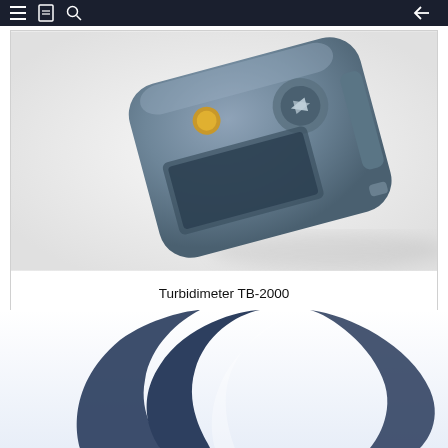Navigation header with menu, bookmark, search, and back icons
[Figure (photo): Close-up photo of a Turbidimeter TB-2000 handheld device in blue-grey color, showing navigation buttons and yellow power button, photographed at an angle on white background]
Turbidimeter TB-2000
[Figure (logo): Partial view of a company logo with dark blue swoosh/wing shapes on light blue background]